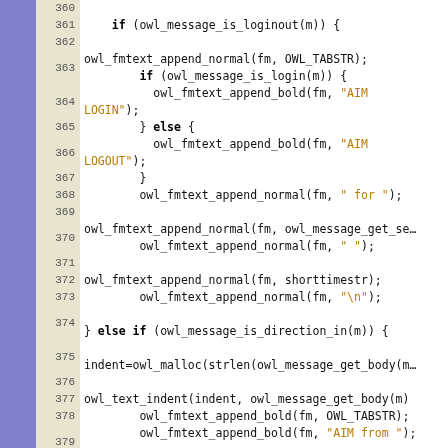[Figure (screenshot): Source code viewer showing C code lines 360-383 with line numbers, git commit annotations in sidebar (c7041b3, bd3f232, 25dd31a), and syntax highlighting. Code shows owl_fmtext functions handling AIM login/logout and message direction.]